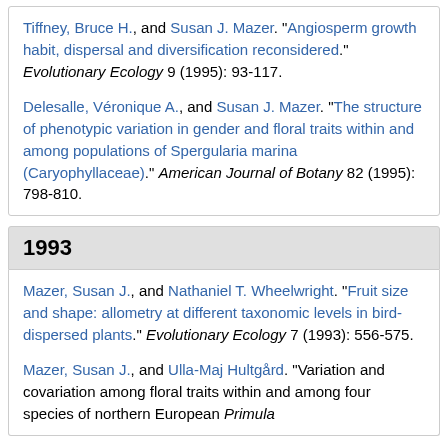Tiffney, Bruce H., and Susan J. Mazer. "Angiosperm growth habit, dispersal and diversification reconsidered." Evolutionary Ecology 9 (1995): 93-117.
Delesalle, Véronique A., and Susan J. Mazer. "The structure of phenotypic variation in gender and floral traits within and among populations of Spergularia marina (Caryophyllaceae)." American Journal of Botany 82 (1995): 798-810.
1993
Mazer, Susan J., and Nathaniel T. Wheelwright. "Fruit size and shape: allometry at different taxonomic levels in bird-dispersed plants." Evolutionary Ecology 7 (1993): 556-575.
Mazer, Susan J., and Ulla-Maj Hultgård. "Variation and covariation among floral traits within and among four species of northern European Primula...